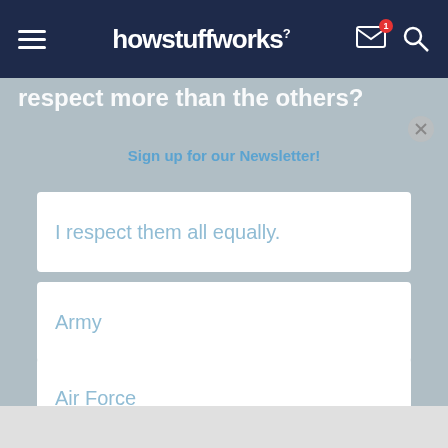howstuffworks
respect more than the others?
Sign up for our Newsletter!
I respect them all equally.
Army
Marines
Air Force